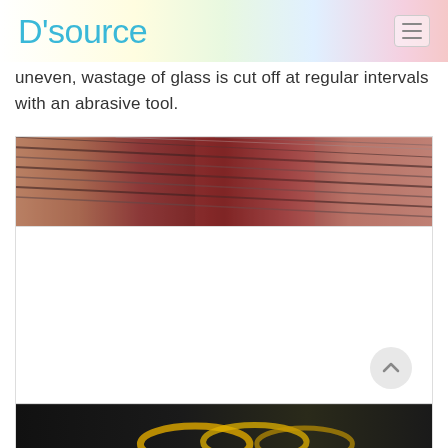D'source
uneven, wastage of glass is cut off at regular intervals with an abrasive tool.
[Figure (photo): Close-up blurred photo of glass bangles or woven glass threads in red and dark tones]
[Figure (photo): White/blank image area with scroll-to-top button visible]
[Figure (photo): Dark photo showing yellow glass bangles on a dark background]